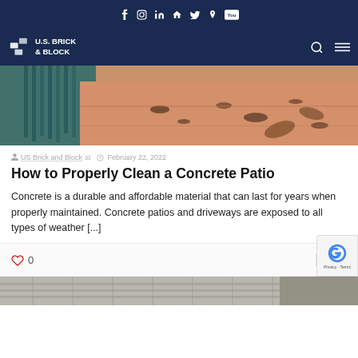f  in  🏠  🐦  p  You
[Figure (logo): U.S. Brick & Block logo with search and menu icons on dark navy background]
[Figure (photo): Close-up photo of a brush sweeping debris off a concrete/brick patio surface]
US Brick and Block at  February 22, 2022
How to Properly Clean a Concrete Patio
Concrete is a durable and affordable material that can last for years when properly maintained. Concrete patios and driveways are exposed to all types of weather [...]
[Figure (photo): Bottom strip showing a patio or deck surface, partially visible]